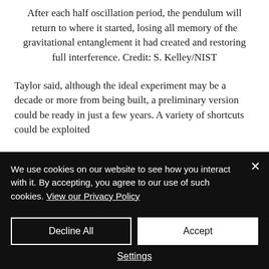After each half oscillation period, the pendulum will return to where it started, losing all memory of the gravitational entanglement it had created and restoring full interference. Credit: S. Kelley/NIST
Taylor said, although the ideal experiment may be a decade or more from being built, a preliminary version could be ready in just a few years. A variety of shortcuts could be exploited
We use cookies on our website to see how you interact with it. By accepting, you agree to our use of such cookies. View our Privacy Policy
Decline All | Accept | Settings